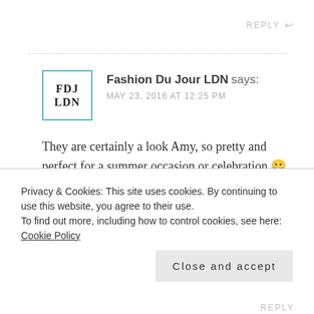REPLY ↩
Fashion Du Jour LDN says: MAY 23, 2016 AT 12:25 PM
They are certainly a look Amy, so pretty and perfect for a summer occasion or celebration 😀
Thanks for stopping by!
Privacy & Cookies: This site uses cookies. By continuing to use this website, you agree to their use. To find out more, including how to control cookies, see here: Cookie Policy
Close and accept
REPLY